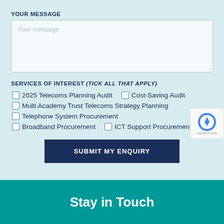YOUR MESSAGE
Your message
SERVICES OF INTEREST (TICK ALL THAT APPLY)
2025 Telecoms Planning Audit
Cost-Saving Audit
Multi Academy Trust Telecoms Strategy Planning
Telephone System Procurement
Broadband Procurement
ICT Support Procurement
SUBMIT MY ENQUIRY
Stay in Touch